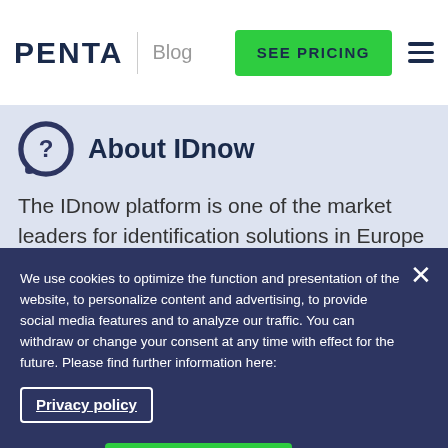PENTA | Blog — SEE PRICING
About IDnow
The IDnow platform is one of the market leaders for identification solutions in Europe and focuses on highest data
We use cookies to optimize the function and presentation of the website, to personalize content and advertising, to provide social media features and to analyze our traffic. You can withdraw or change your consent at any time with effect for the future. Please find further information here:
Privacy policy
Settings
ACCEPT